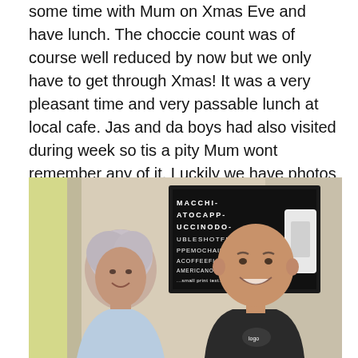some time with Mum on Xmas Eve and have lunch. The choccie count was of course well reduced by now but we only have to get through Xmas! It was a very pleasant time and very passable lunch at local cafe. Jas and da boys had also visited during week so tis a pity Mum wont remember any of it. Luckily we have photos
[Figure (photo): Photo of an elderly woman with white/grey hair wearing a light blue top, sitting next to a middle-aged bald man wearing a black t-shirt, both smiling. In the background is a cafe-style eye chart board with coffee menu text (MACCHI, ATOCAPP, UCCINODO, UBLESHOTFRA, PPEMOCHAIRIS, ACOFFEEFLATW, AMERICANO...) and a white wall-mounted device.]